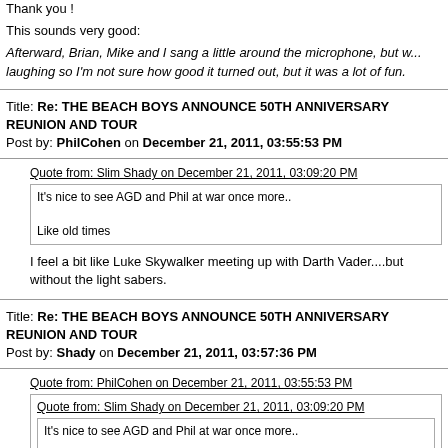Thank you !
This sounds very good:
Afterward, Brian, Mike and I sang a little around the microphone, but w... laughing so I'm not sure how good it turned out, but it was a lot of fun.
Title: Re: THE BEACH BOYS ANNOUNCE 50TH ANNIVERSARY REUNION AND TOUR
Post by: PhilCohen on December 21, 2011, 03:55:53 PM
Quote from: Slim Shady on December 21, 2011, 03:09:20 PM
It's nice to see AGD and Phil at war once more..
Like old times
I feel a bit like Luke Skywalker meeting up with Darth Vader....but without the light sabers.
Title: Re: THE BEACH BOYS ANNOUNCE 50TH ANNIVERSARY REUNION AND TOUR
Post by: Shady on December 21, 2011, 03:57:36 PM
Quote from: PhilCohen on December 21, 2011, 03:55:53 PM
Quote from: Slim Shady on December 21, 2011, 03:09:20 PM
It's nice to see AGD and Phil at war once more..
Like old times
I feel a bit like Luke Skywalker meeting up with Darth Vader....but without the light sabers.